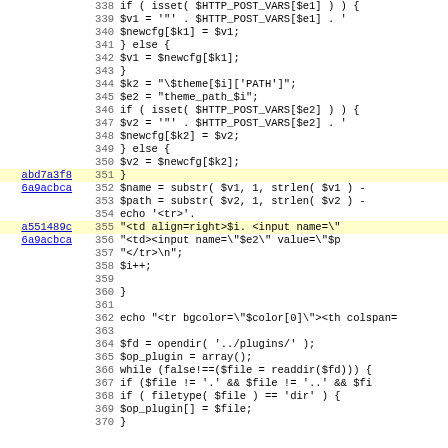[Figure (screenshot): Source code viewer showing PHP code lines 338-370 with line numbers, some lines having commit hash links (abd7a3f8, 6a9acbca, a551489c) and highlighted rows. Code includes PHP variable assignments, isset checks, echo statements, and file operations.]